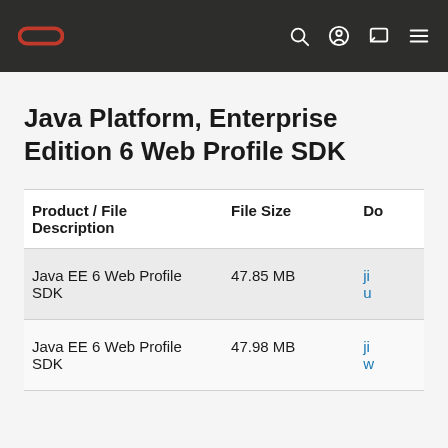Oracle logo navigation bar with search, account, chat, and menu icons
Java Platform, Enterprise Edition 6 Web Profile SDK
| Product / File Description | File Size | Do |
| --- | --- | --- |
| Java EE 6 Web Profile SDK | 47.85 MB | ji u |
| Java EE 6 Web Profile SDK | 47.98 MB | ji w |